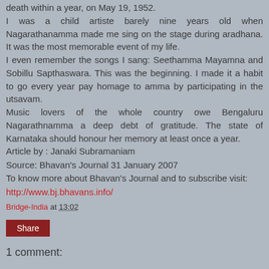death within a year, on May 19, 1952.
I was a child artiste barely nine years old when Nagarathanamma made me sing on the stage during aradhana. It was the most memorable event of my life.
I even remember the songs I sang: Seethamma Mayamna and Sobillu Sapthaswara. This was the beginning. I made it a habit to go every year pay homage to amma by participating in the utsavam.
Music lovers of the whole country owe Bengaluru Nagarathnamma a deep debt of gratitude. The state of Karnataka should honour her memory at least once a year.
Article by : Janaki Subramaniam
Source: Bhavan's Journal 31 January 2007
To know more about Bhavan's Journal and to subscribe visit: http://www.bj.bhavans.info/
Bridge-India at 13:02
Share
1 comment: